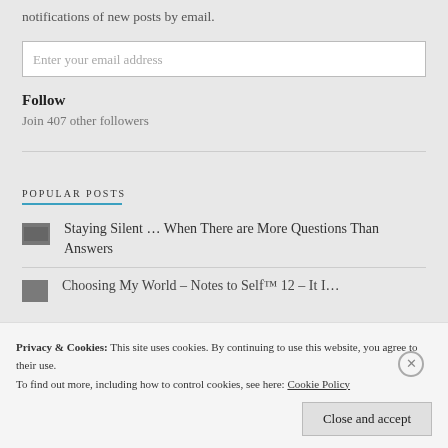notifications of new posts by email.
Enter your email address
Follow
Join 407 other followers
POPULAR POSTS
Staying Silent … When There are More Questions Than Answers
Choosing My World – Notes to Self™ 12 – It I…
Privacy & Cookies: This site uses cookies. By continuing to use this website, you agree to their use.
To find out more, including how to control cookies, see here: Cookie Policy
Close and accept